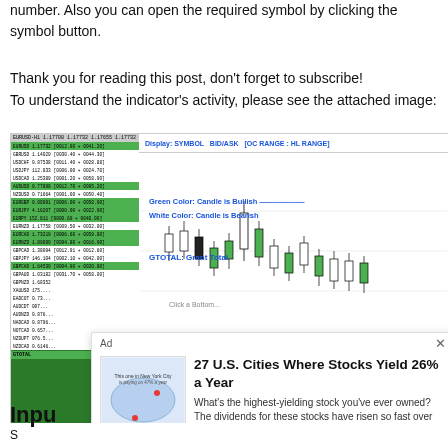number. Also you can open the required symbol by clicking the symbol button.
Thank you for reading this post, don't forget to subscribe!
To understand the indicator's activity, please see the attached image:
[Figure (screenshot): Screenshot of a trading platform showing a list of currency pairs with green/white highlighted rows on the left, and a candlestick chart on the right with labels: Display: SYMBOL BID/ASK [OC RANGE : HL RANGE], Green Color: Candle is Bullish, White Color: Candle is Bearish, GTOTAL: Grant Total. An advertisement overlay is visible showing '27 U.S. Cities Where Stocks Yield 26% a Year' with a Get in on the action here button.]
Inpu
S